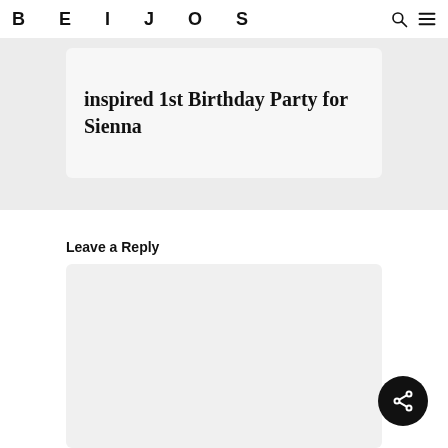BEIJOS
inspired 1st Birthday Party for Sienna
Leave a Reply